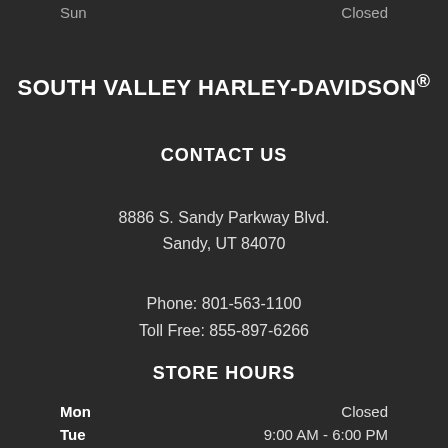Sun   Closed
SOUTH VALLEY HARLEY-DAVIDSON®
CONTACT US
8886 S. Sandy Parkway Blvd.
Sandy, UT 84070
Phone: 801-563-1100
Toll Free: 855-897-6266
STORE HOURS
| Day | Hours |
| --- | --- |
| Mon | Closed |
| Tue | 9:00 AM - 6:00 PM |
| Wed | 9:00 AM - 6:00 PM |